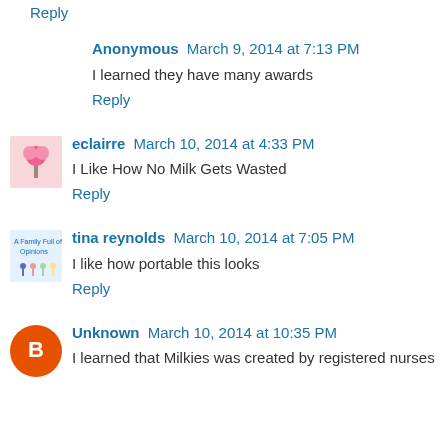Reply
Anonymous March 9, 2014 at 7:13 PM
I learned they have many awards
Reply
eclairre March 10, 2014 at 4:33 PM
I Like How No Milk Gets Wasted
Reply
tina reynolds March 10, 2014 at 7:05 PM
I like how portable this looks
Reply
Unknown March 10, 2014 at 10:35 PM
I learned that Milkies was created by registered nurses